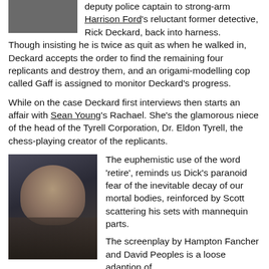deputy police captain to strong-arm Harrison Ford's reluctant former detective, Rick Deckard, back into harness.
Though insisting he is twice as quit as when he walked in, Deckard accepts the order to find the remaining four replicants and destroy them, and an origami-modelling cop called Gaff is assigned to monitor Deckard's progress.
While on the case Deckard first interviews then starts an affair with Sean Young's Rachael. She's the glamorous niece of the head of the Tyrell Corporation, Dr. Eldon Tyrell, the chess-playing creator of the replicants.
[Figure (photo): Photo of Harrison Ford as Rick Deckard pointing a gun, in dark moody lighting]
The euphemistic use of the word 'retire', reminds us Dick's paranoid fear of the inevitable decay of our mortal bodies, reinforced by Scott scattering his sets with mannequin parts.
The screenplay by Hampton Fancher and David Peoples is a loose adaption of